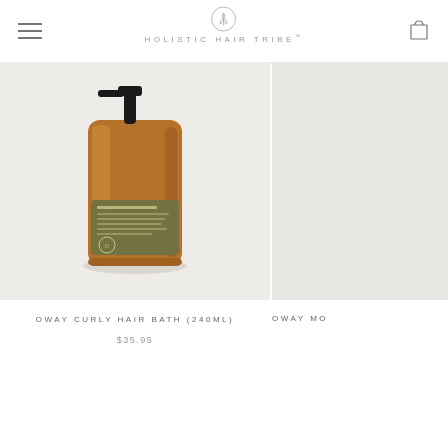HOLISTIC HAIR TRIBE™
[Figure (photo): Amber glass pump bottle of Oway Curly Hair Bath 240ml hair product with green label on light grey background]
OWAY CURLY HAIR BATH (240ML)
$35.95
[Figure (photo): Partially visible second product image on right side, cropped by page edge]
OWAY MO